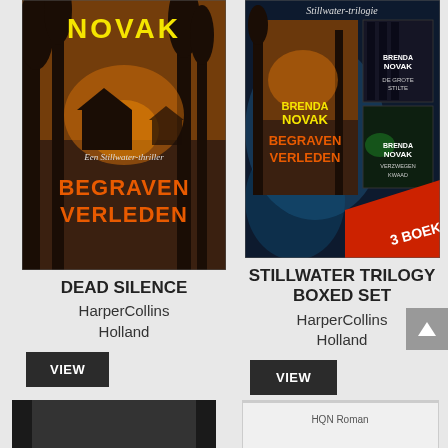[Figure (illustration): Book cover for 'Begraven Verleden' (Dead Silence) by Brenda Novak. Dutch cover showing a dark atmospheric scene with trees and a house, title 'BEGRAVEN VERLEDEN' in orange text, 'Een Stillwater-thriller' subtitle, author name 'NOVAK' in yellow at top.]
DEAD SILENCE
HarperCollins Holland
VIEW
[Figure (illustration): Stillwater Trilogy Boxed Set cover showing collection of 3 Dutch-language thrillers by Brenda Novak including 'Begraven Verleden', 'De Grote Stilte', and 'Verzwegen Kwaad'. Blue tinted cover with '3 BOEKEN' banner.]
STILLWATER TRILOGY BOXED SET
HarperCollins Holland
VIEW
[Figure (illustration): Partial book cover visible at bottom left (black and white photo style).]
[Figure (illustration): Partial book cover visible at bottom right with 'HQN Roman' label.]